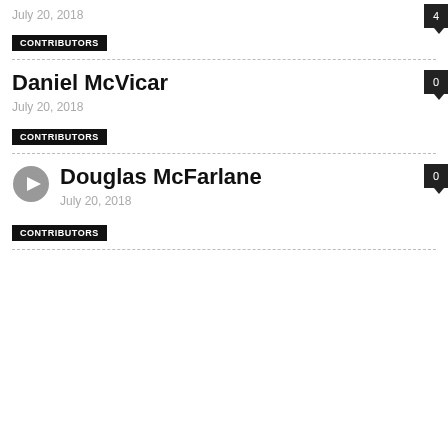July 20, 2018
4
CONTRIBUTORS
Daniel McVicar
July 20, 2018
0
CONTRIBUTORS
Douglas McFarlane
July 20, 2018
0
CONTRIBUTORS